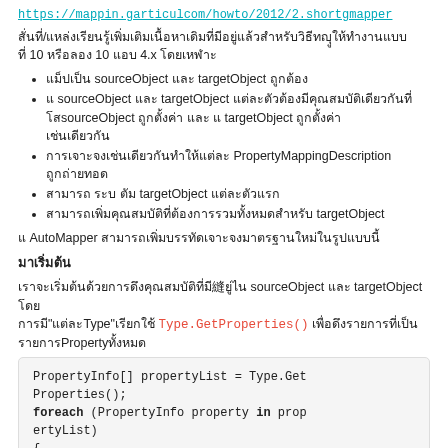link: https://mappin.garticulcom/howto/2012/2.shortgmapper
Thai text block about 10 items 10 lines 4.x functionality
Thai text: sourceObject and targetObject properties
Thai text: sourceObject and targetObject conversion with sourceObject property and targetObject property
Thai text: PropertyMappingDescription properties
Thai text: targetObject properties
Thai text: targetObject
AutoMapper Thai text description
Thai section header
Thai description text about sourceObject and targetObject with Type and Type.GetProperties() and Property
PropertyInfo[] propertyList = Type.GetProperties();
foreach (PropertyInfo property in propertyList)
{
    PropertyMappingDescription propertyM